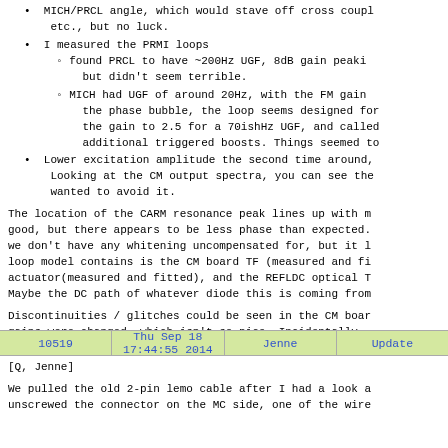etc., but no luck.
I measured the PRMI loops
found PRCL to have ~200Hz UGF, 8dB gain peaki but didn't seem terrible.
MICH had UGF of around 20Hz, with the FM gain the phase bubble, the loop seems designed for the gain to 2.5 for a 70ishHz UGF, and called additional triggered boosts. Things seemed to
Lower excitation amplitude the second time around, Looking at the CM output spectra, you can see the wanted to avoid it.
The location of the CARM resonance peak lines up with m good, but there appears to be less phase than expected. we don't have any whitening uncompensated for, but it l loop model contains is the CM board TF (measured and fi actuator(measured and fitted), and the REFLDC optical T Maybe the DC path of whatever diode this is coming from
Discontinuities / glitches could be seen in the CM boar gains were changed, which isn't so nice. Incidentally, loss corresponded to a step of AO gain on the CM board.
10519   Thu Sep 18 17:44:55 2014   Jenne   Update
[Q, Jenne]
We pulled the old 2-pin lemo cable after I had a look a unscrewed the connector on the MC side, one of the wire